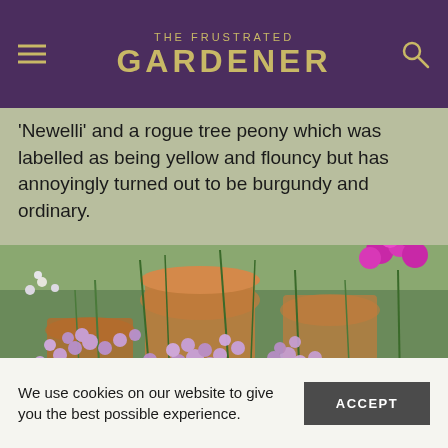THE FRUSTRATED GARDENER
'Newelli' and a rogue tree peony which was labelled as being yellow and flouncy but has annoyingly turned out to be burgundy and ordinary.
[Figure (photo): Garden scene showing clusters of small purple/lavender star-shaped flowers in the foreground with terracotta pots, green foliage, and bright magenta flowers in the background.]
We use cookies on our website to give you the best possible experience.